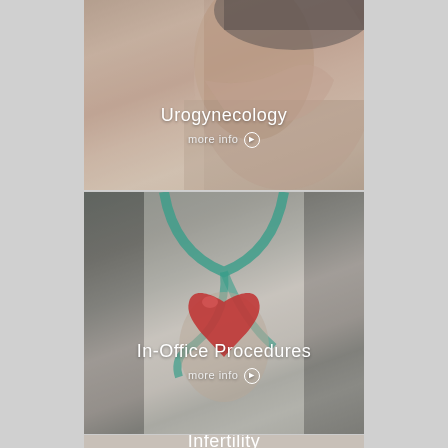[Figure (photo): Medical/gynecology photo showing a person in a seated position against a light background, with text overlay 'Urogynecology' and 'more info' link]
[Figure (photo): Photo of a doctor in white coat with green stethoscope holding a red heart-shaped object, with text overlay 'In-Office Procedures' and 'more info' link]
[Figure (photo): Partially visible photo at bottom with text 'Infertility' partially shown, appears to show hands]